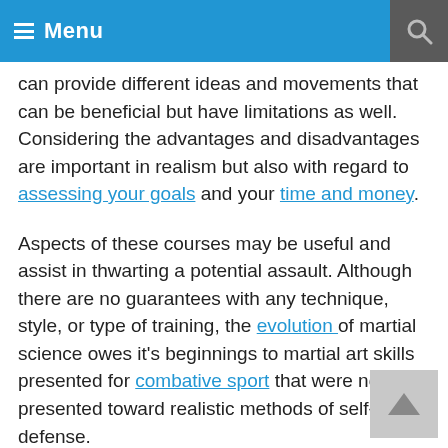Menu
can provide different ideas and movements that can be beneficial but have limitations as well. Considering the advantages and disadvantages are important in realism but also with regard to assessing your goals and your time and money.
Aspects of these courses may be useful and assist in thwarting a potential assault. Although there are no guarantees with any technique, style, or type of training, the evolution of martial science owes it's beginnings to martial art skills presented for combative sport that were not presented toward realistic methods of self-defense.
Some universities and high schools offer Model Mugging courses as physical education credit for